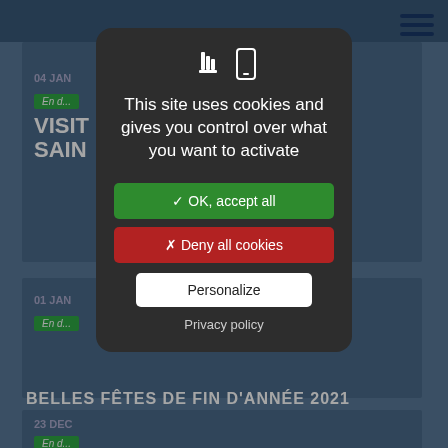[Figure (screenshot): Background website screenshot showing a news/media page with article cards, dates (04 JAN, 01 JAN, 23 DEC), green 'En d...' labels, bold white article titles including 'VISIT... SAIN...' and 'BELLES FÊTES DE FIN D'ANNÉE 2021', and a hamburger menu icon top right. The entire page is overlaid with a dark cookie consent modal.]
This site uses cookies and gives you control over what you want to activate
✓ OK, accept all
✗ Deny all cookies
Personalize
Privacy policy